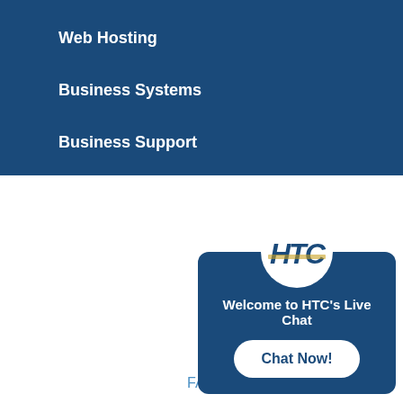Web Hosting
Business Systems
Business Support
FAQ
Terms of Service
Privacy Policy
Submit a Ticket
© Harrisonville Telephone …
[Figure (screenshot): HTC Live Chat popup widget with HTC logo, 'Welcome to HTC's Live Chat' message, and 'Chat Now!' button]